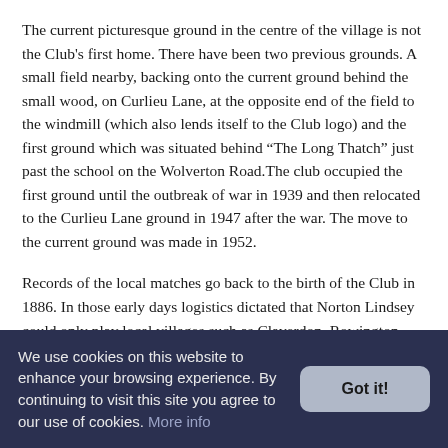The current picturesque ground in the centre of the village is not the Club's first home. There have been two previous grounds. A small field nearby, backing onto the current ground behind the small wood, on Curlieu Lane, at the opposite end of the field to the windmill (which also lends itself to the Club logo) and the first ground which was situated behind “The Long Thatch” just past the school on the Wolverton Road.The club occupied the first ground until the outbreak of war in 1939 and then relocated to the Curlieu Lane ground in 1947 after the war. The move to the current ground was made in 1952.
Records of the local matches go back to the birth of the Club in 1886. In those early days logistics dictated that Norton Lindsey could only play local villages such as Claverdon, Rowington, Snitterfield and Henley in Arden, which goes someway to explain the good natured rivalry between these villages, local to each other and to Norton Lindsey.
We use cookies on this website to enhance your browsing experience. By continuing to visit this site you agree to our use of cookies. More info